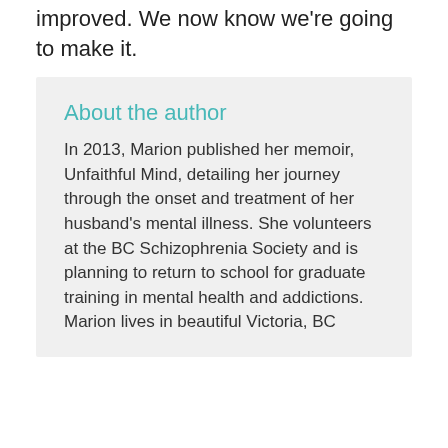improved. We now know we're going to make it.
About the author
In 2013, Marion published her memoir, Unfaithful Mind, detailing her journey through the onset and treatment of her husband's mental illness. She volunteers at the BC Schizophrenia Society and is planning to return to school for graduate training in mental health and addictions. Marion lives in beautiful Victoria, BC